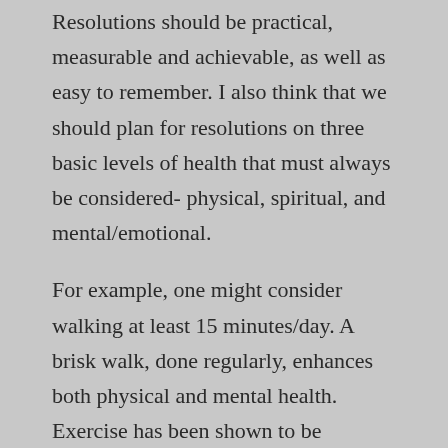Resolutions should be practical, measurable and achievable, as well as easy to remember. I also think that we should plan for resolutions on three basic levels of health that must always be considered- physical, spiritual, and mental/emotional.
For example, one might consider walking at least 15 minutes/day. A brisk walk, done regularly, enhances both physical and mental health. Exercise has been shown to be effective in reducing stress, anxiety and depression. Further, the physical benefits of exercise are too numerous to mention in a brief blog. Trust me when I say that exercise pays off far beyond the effort that it takes to do it.
Spiritually, there are so many practices that we can consider, meditation, prayer, reading, uplifting music